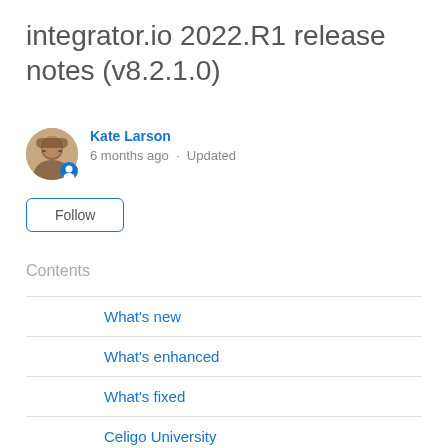integrator.io 2022.R1 release notes (v8.2.1.0)
Kate Larson · 6 months ago · Updated
Follow
Contents
What's new
What's enhanced
What's fixed
Celigo University
Integration App articles
Support: Help Center updates